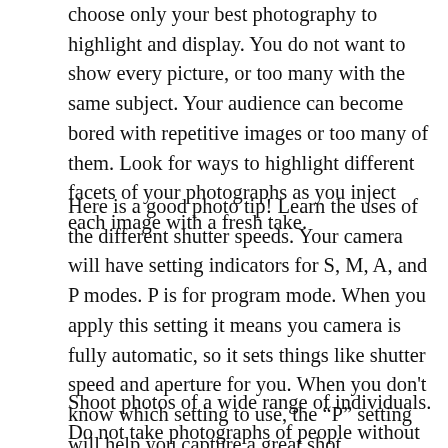choose only your best photography to highlight and display. You do not want to show every picture, or too many with the same subject. Your audience can become bored with repetitive images or too many of them. Look for ways to highlight different facets of your photographs as you inject each image with a fresh take.
Here is a good photo tip! Learn the uses of the different shutter speeds. Your camera will have setting indicators for S, M, A, and P modes. P is for program mode. When you apply this setting it means you camera is fully automatic, so it sets things like shutter speed and aperture for you. When you don't know which setting to use, the “P” setting will help you capture a great shot.
Shoot photos of a wide range of individuals. Do not take photographs of people without their consent. Even though the people in these pictures weren't of any particular importance, these pictures might serve as